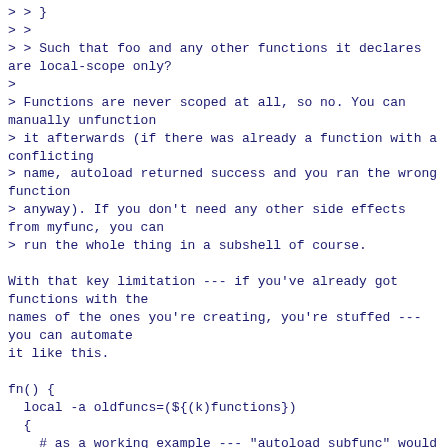> > }
> >
> > Such that foo and any other functions it declares are local-scope only?
>
> Functions are never scoped at all, so no. You can manually unfunction
> it afterwards (if there was already a function with a conflicting
> name, autoload returned success and you ran the wrong function
> anyway). If you don't need any other side effects from myfunc, you can
> run the whole thing in a subshell of course.

With that key limitation --- if you've already got functions with the
names of the ones you're creating, you're stuffed ---
you can automate
it like this.

fn() {
  local -a oldfuncs=(${(k)functions})
  {
    # as a working example --- "autoload subfunc" would work fine
    subfunc() { print This is subfunc; }
    subfunc
  } always {
    local -a funcs=(${(k)functions:|oldfuncs})